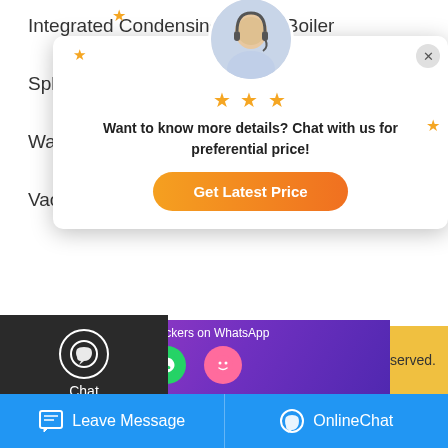Integrated Condensing Steam Boiler
Split Condensing Steam Boiler
Water Tube Steam Boiler
Vacuum Water Boiler T7
[Figure (screenshot): Chat popup with agent photo, stars, message 'Want to know more details? Chat with us for preferential price!' and orange 'Get Latest Price' button]
Contact Information
Gaoxinqu Area, Zhengzh
quotation@boilermanufactory.com
0086-371-60922096
er Manufacturer All rights reserved.
Leave Message
OnlineChat